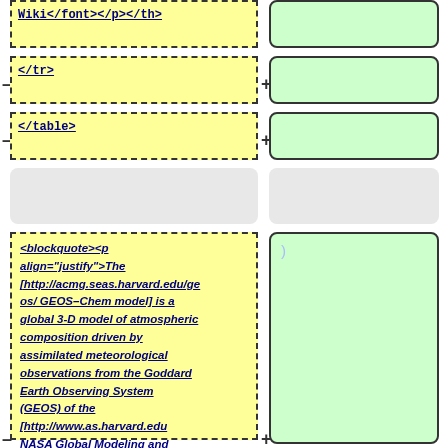Wiki</font></p></th>
</tr>
</table>
<blockquote><p align="justify">The [http://acmg.seas.harvard.edu/geos/ GEOS–Chem model] is a global 3-D model of atmospheric composition driven by assimilated meteorological observations from the Goddard Earth Observing System (GEOS) of the [http://www.as.harvard.edu NASA Global Modeling and Assimilation Office]. It is applied by
[Figure (screenshot): Right column showing green rounded boxes and grey box, with a text cursor character visible in the large green box at bottom right.]